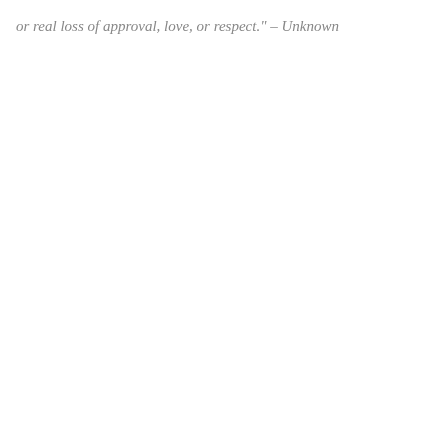or real loss of approval, love, or respect." – Unknown